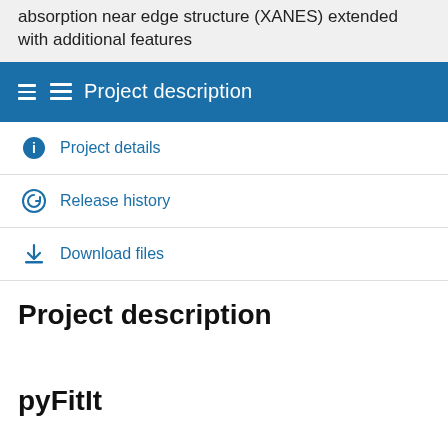absorption near edge structure (XANES) extended with additional features
Project description
Project details
Release history
Download files
Project description
pyFitIt